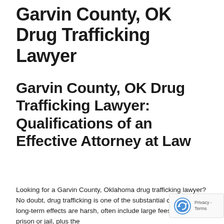Garvin County, OK Drug Trafficking Lawyer
Garvin County, OK Drug Trafficking Lawyer: Qualifications of an Effective Attorney at Law
Looking for a Garvin County, Oklahoma drug trafficking lawyer? No doubt, drug trafficking is one of the substantial charges. The long-term effects are harsh, often include large fees and time in prison or jail, plus the